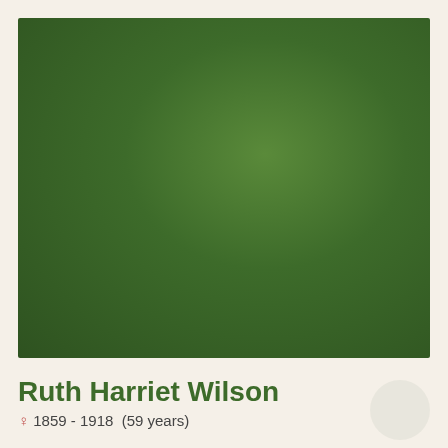[Figure (photo): Large green rectangle representing a placeholder photo with a dark olive/forest green gradient background]
Ruth Harriet Wilson
♀ 1859 - 1918  (59 years)